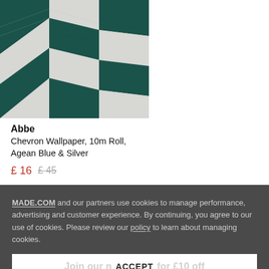[Figure (photo): Close-up photo of Abbe Chevron Wallpaper in dark teal/green and white geometric chevron/herringbone pattern]
Abbe
Chevron Wallpaper, 10m Roll, Agean Blue & Silver
£ 16  £ 45
MADE.COM and our partners use cookies to manage performance, advertising and customer experience. By continuing, you agree to our use of cookies. Please review our policy to learn about managing cookies.
Join our newsletter for £10 off
ACCEPT